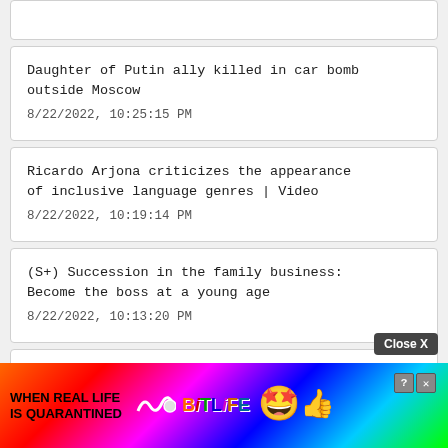Daughter of Putin ally killed in car bomb outside Moscow
8/22/2022, 10:25:15 PM
Ricardo Arjona criticizes the appearance of inclusive language genres | Video
8/22/2022, 10:19:14 PM
(S+) Succession in the family business: Become the boss at a young age
8/22/2022, 10:13:20 PM
Canada trip by Olaf Scholz and Robert Habeck... and Habec...
[Figure (screenshot): BitLife advertisement banner with rainbow gradient background, text 'WHEN REAL LIFE IS QUARANTINED', BitLife logo, emoji face with stars and mask, thumbs up emoji, Close X button, help and X icons.]